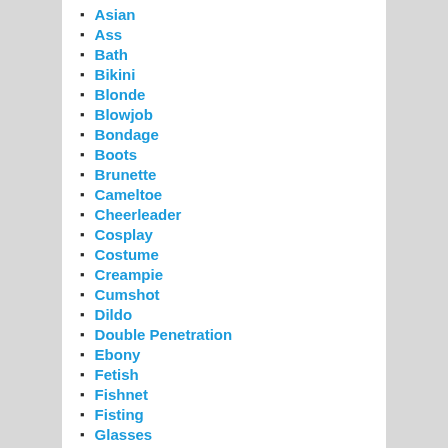Asian
Ass
Bath
Bikini
Blonde
Blowjob
Bondage
Boots
Brunette
Cameltoe
Cheerleader
Cosplay
Costume
Creampie
Cumshot
Dildo
Double Penetration
Ebony
Fetish
Fishnet
Fisting
Glasses